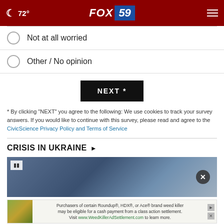72° FOX 59
Not at all worried
Other / No opinion
NEXT *
* By clicking "NEXT" you agree to the following: We use cookies to track your survey answers. If you would like to continue with this survey, please read and agree to the CivicScience Privacy Policy and Terms of Service
CRISIS IN UKRAINE ▶
[Figure (photo): News image related to Crisis in Ukraine story with gallery icon overlay and close button]
[Figure (other): Advertisement banner: Purchasers of certain Roundup®, HDX®, or Ace® brand weed killer may be eligible for a cash payment from a class action settlement. Visit www.WeedKillerAdSettlement.com to learn more.]